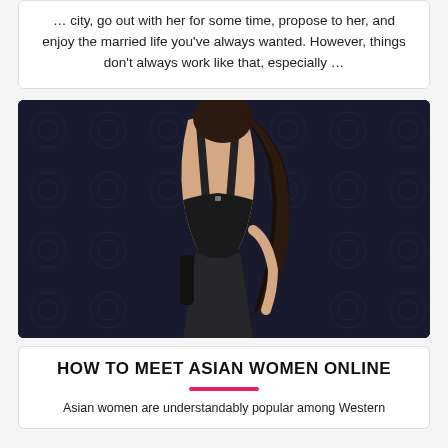... city, go out with her for some time, propose to her, and enjoy the married life you've always wanted. However, things don't always work like that, especially ...
[Figure (photo): Woman with long dark hair wearing a black outfit, photographed from behind against a dark ornate patterned wallpaper background.]
HOW TO MEET ASIAN WOMEN ONLINE
Asian women are understandably popular among Western